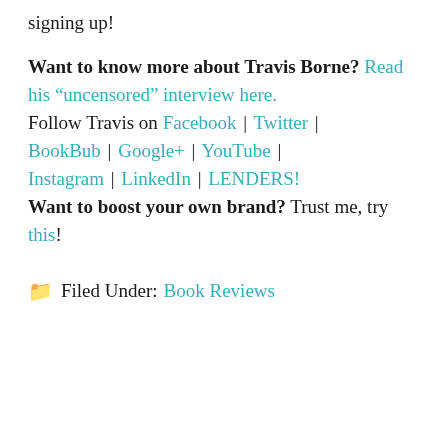signing up!
Want to know more about Travis Borne? Read his “uncensored” interview here. Follow Travis on Facebook | Twitter | BookBub | Google+ | YouTube | Instagram | LinkedIn | LENDERS! Want to boost your own brand? Trust me, try this!
📁 Filed Under: Book Reviews